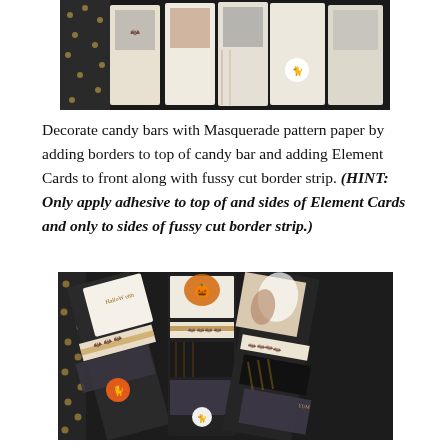[Figure (photo): Top portion of Halloween candy bars decorated with Masquerade pattern paper, featuring black polka dot background paper, decorative cards with Halloween imagery including black cats, shown fanned out on white surface.]
Decorate candy bars with Masquerade pattern paper by adding borders to top of candy bar and adding Element Cards to front along with fussy cut border strip. (HINT: Only apply adhesive to top of and sides of Element Cards and only to sides of fussy cut border strip.)
[Figure (photo): Bottom photo showing decorated Halloween candy bars fanned out, with Masquerade pattern paper featuring bat borders, black cats in orange circles, polka dot paper, and vintage Halloween imagery including a jack-o-lantern and costumed figures.]